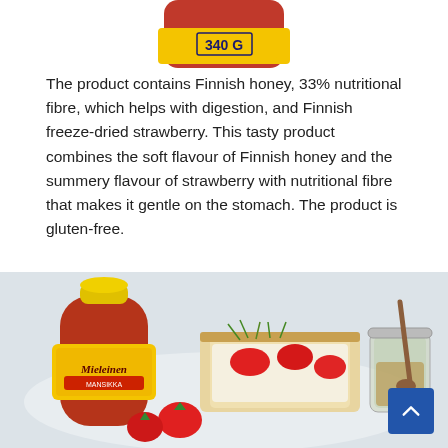[Figure (photo): Top portion of a Mieleinen Finnish honey bottle (340g) with a yellow label, cropped showing just the top of the bottle]
The product contains Finnish honey, 33% nutritional fibre, which helps with digestion, and Finnish freeze-dried strawberry. This tasty product combines the soft flavour of Finnish honey and the summery flavour of strawberry with nutritional fibre that makes it gentle on the stomach. The product is gluten-free.
[Figure (photo): Product photo showing a Mieleinen strawberry honey bottle next to open-faced sandwiches topped with strawberries and sprouts, alongside a glass jar with honey and a honey dipper, on a light background]